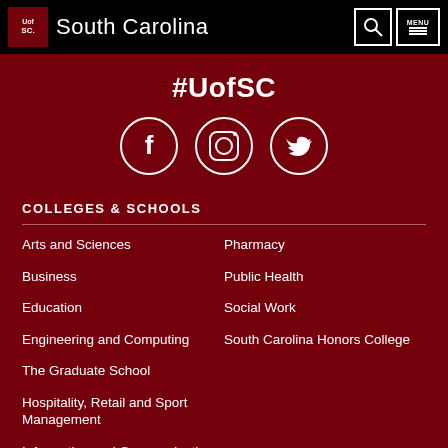University of South Carolina - South Carolina
#UofSC
[Figure (illustration): Social media icons: Facebook, Instagram, Twitter (white circles with icons on dark red background)]
COLLEGES & SCHOOLS
Arts and Sciences
Pharmacy
Business
Public Health
Education
Social Work
Engineering and Computing
South Carolina Honors College
The Graduate School
Hospitality, Retail and Sport Management
Information and Communications
Law